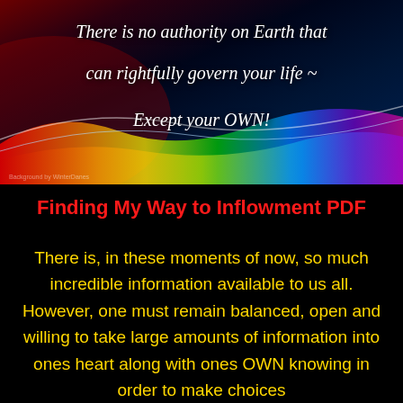[Figure (illustration): A decorative image with a dark blue/teal background featuring flowing rainbow-colored light streaks (red, orange, yellow, green, blue, violet) forming wave patterns across the bottom half, with white italic quote text overlaid]
Finding My Way to Inflowment PDF
There is, in these moments of now, so much incredible information available to us all. However, one must remain balanced, open and willing to take large amounts of information into ones heart along with ones OWN knowing in order to make choices